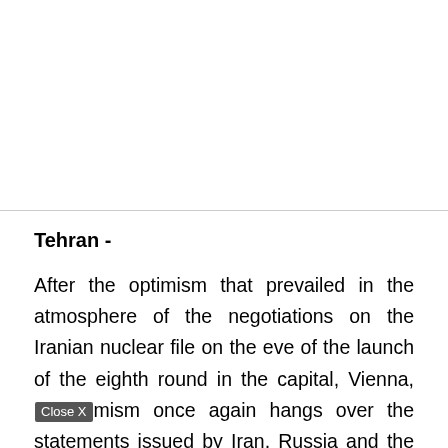Tehran -
After the optimism that prevailed in the atmosphere of the negotiations on the Iranian nuclear file on the eve of the launch of the eighth round in the capital, Vienna, [Close X]mism once again hangs over the statements issued by Iran, Russia and the United States